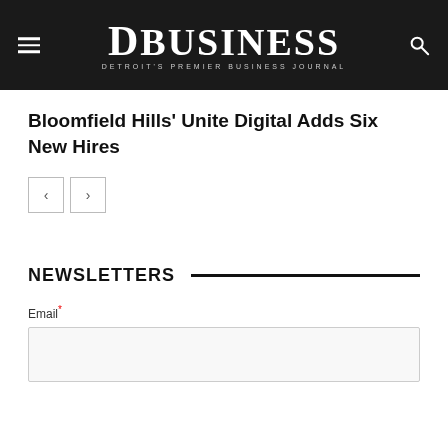DBusiness — Detroit's Premier Business Journal
Bloomfield Hills' Unite Digital Adds Six New Hires
[Figure (other): Navigation previous/next arrow buttons]
NEWSLETTERS
Email*
[Figure (other): Email input field]